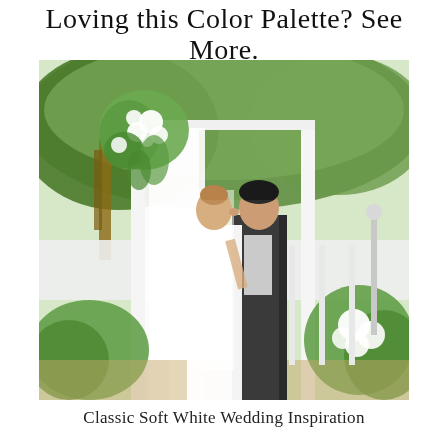Loving this Color Palette? See More.
[Figure (photo): Outdoor wedding ceremony photo showing a bride and groom sharing a first kiss under a white wooden arch decorated with lush white flowers and greenery. The background shows large trees with green foliage and white fencing. White floral arrangements are placed at the base of the arch posts.]
Classic Soft White Wedding Inspiration